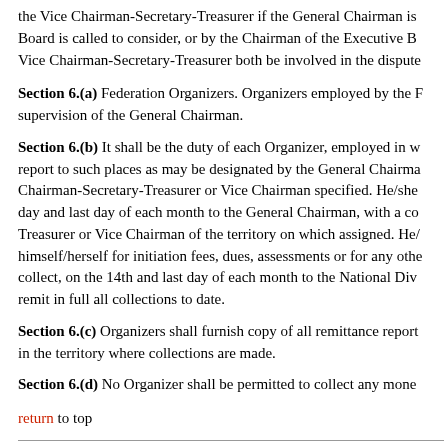the Vice Chairman-Secretary-Treasurer if the General Chairman is Board is called to consider, or by the Chairman of the Executive B Vice Chairman-Secretary-Treasurer both be involved in the dispute
Section 6.(a) Federation Organizers. Organizers employed by the F supervision of the General Chairman.
Section 6.(b) It shall be the duty of each Organizer, employed in w report to such places as may be designated by the General Chairma Chairman-Secretary-Treasurer or Vice Chairman specified. He/she day and last day of each month to the General Chairman, with a co Treasurer or Vice Chairman of the territory on which assigned. He/ himself/herself for initiation fees, dues, assessments or for any othe collect, on the 14th and last day of each month to the National Div remit in full all collections to date.
Section 6.(c) Organizers shall furnish copy of all remittance report in the territory where collections are made.
Section 6.(d) No Organizer shall be permitted to collect any mone
return to top
ARTICLE V